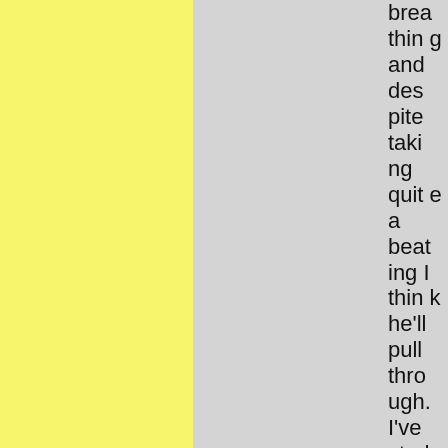breathing and despite taking quite a beating I think he'll pull through. I've studied humans